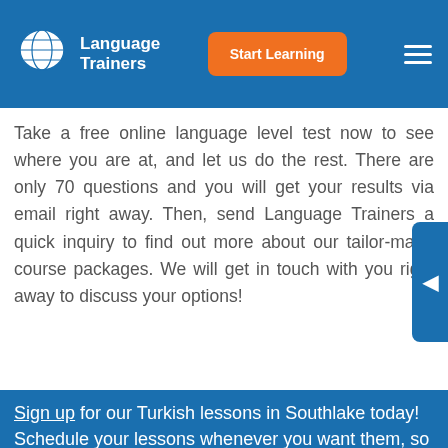Language Trainers | Start Learning
Take a free online language level test now to see where you are at, and let us do the rest. There are only 70 questions and you will get your results via email right away. Then, send Language Trainers a quick inquiry to find out more about our tailor-made course packages. We will get in touch with you right away to discuss your options!
Sign up for our Turkish lessons in Southlake today! Schedule your lessons whenever you want them, so you can always find time to study, regardless of your timetable or location. You don't even have to leave